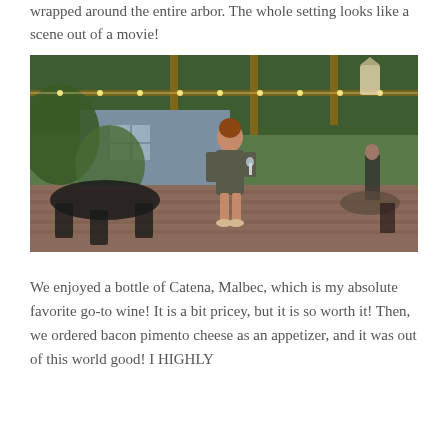wrapped around the entire arbor. The whole setting looks like a scene out of a movie!
[Figure (photo): Woman in gray dress standing in a lush outdoor patio garden with string lights, pergola, black wrought iron furniture on brick pavement, with trees and a blue building in the background.]
We enjoyed a bottle of Catena, Malbec, which is my absolute favorite go-to wine! It is a bit pricey, but it is so worth it! Then, we ordered bacon pimento cheese as an appetizer, and it was out of this world good! I HIGHLY